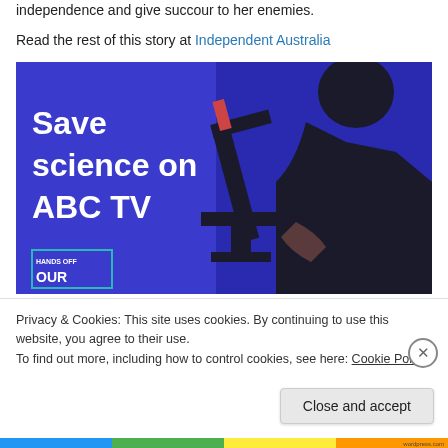independence and give succour to her enemies.
Read the rest of this story at Independent Australia
[Figure (photo): Advertisement image with blue background showing silhouette of person looking through microscope. White bold text reads 'Save science on ABC TV'. Bottom left corner has a badge reading 'HANDS OFF OUR'.]
Privacy & Cookies: This site uses cookies. By continuing to use this website, you agree to their use.
To find out more, including how to control cookies, see here: Cookie Policy
Close and accept